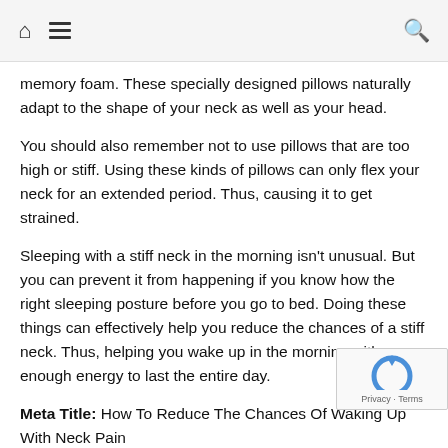Home menu search
memory foam. These specially designed pillows naturally adapt to the shape of your neck as well as your head.
You should also remember not to use pillows that are too high or stiff. Using these kinds of pillows can only flex your neck for an extended period. Thus, causing it to get strained.
Sleeping with a stiff neck in the morning isn't unusual. But you can prevent it from happening if you know how the right sleeping posture before you go to bed. Doing these things can effectively help you reduce the chances of a stiff neck. Thus, helping you wake up in the morning with enough energy to last the entire day.
Meta Title: How To Reduce The Chances Of Waking Up With Neck Pain
Meta Description: Do you often have a stiff neck in the morning?